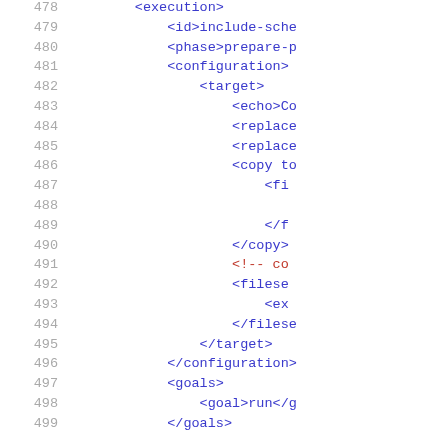[Figure (screenshot): Source code listing showing XML/Maven build configuration, lines 478-499, with line numbers on the left in grey and code in blue/red monospace font on the right.]